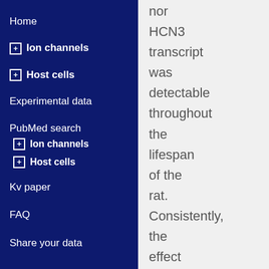Home
⊞ Ion channels
⊞ Host cells
Experimental data
PubMed search
⊞ Ion channels
⊞ Host cells
Kv paper
FAQ
Share your data
nor HCN3 transcript was detectable throughout the lifespan of the rat. Consistently, the effect of 2 mM Cs+ to selectively